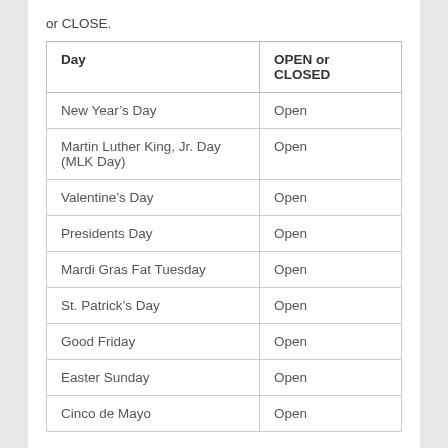or CLOSE.
| Day | OPEN or CLOSED |
| --- | --- |
| New Year’s Day | Open |
| Martin Luther King, Jr. Day (MLK Day) | Open |
| Valentine’s Day | Open |
| Presidents Day | Open |
| Mardi Gras Fat Tuesday | Open |
| St. Patrick’s Day | Open |
| Good Friday | Open |
| Easter Sunday | Open |
| Cinco de Mayo | Open |